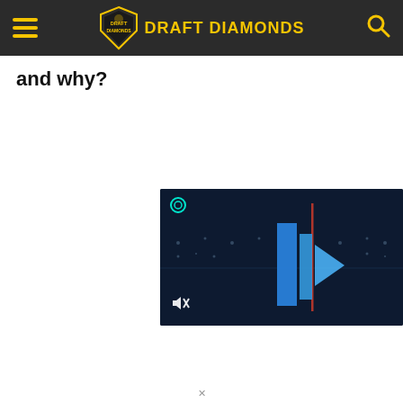Draft Diamonds
and why?
[Figure (screenshot): Video player screenshot showing a dark blue football stadium background with blue vertical bar shapes and a red vertical line, with a circular icon top-left and a mute icon bottom-left.]